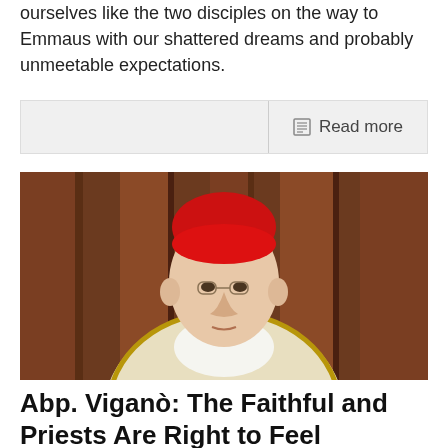ourselves like the two disciples on the way to Emmaus with our shattered dreams and probably unmeetable expectations.
Read more
[Figure (photo): Portrait photograph of Archbishop Viganò wearing red zucchetto and white vestments with gold trim, standing before a dark wooden background.]
Abp. Viganò: The Faithful and Priests Are Right to Feel Abandoned, by Marco